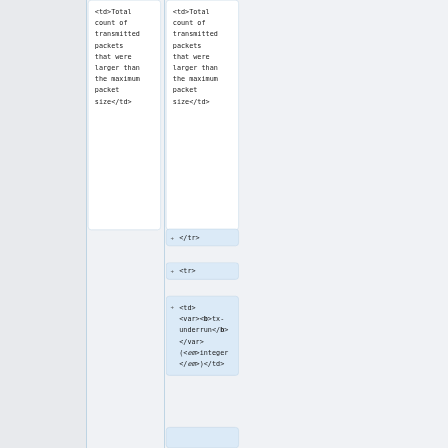<td>Total count of transmitted packets that were larger than the maximum packet size</td>
<td>Total count of transmitted packets that were larger than the maximum packet size</td>
</tr>
<tr>
<td> <var><b>tx-underrun</b></var> (<em>integer</em>)</td>